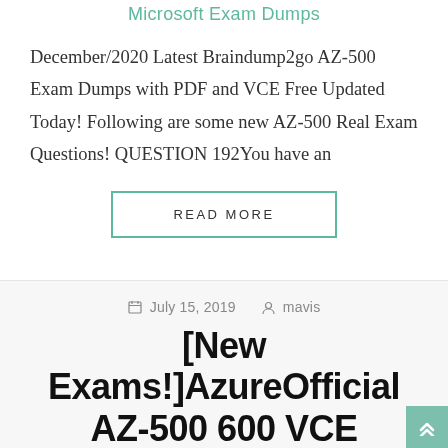Microsoft Exam Dumps
December/2020 Latest Braindump2go AZ-500 Exam Dumps with PDF and VCE Free Updated Today! Following are some new AZ-500 Real Exam Questions! QUESTION 192You have an
READ MORE
July 15, 2019  mavis
[New Exams!]AzureOfficial AZ-500 600 VCE Dumps Free